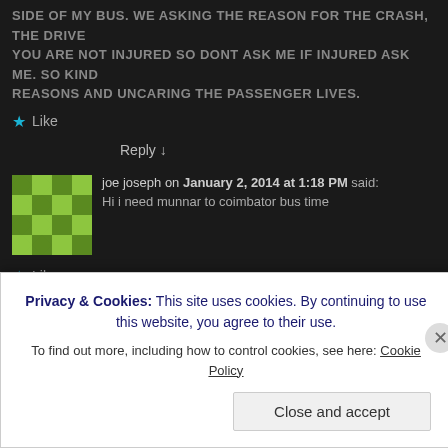SIDE OF MY BUS. WE ASKING THE REASON FOR THE CRASH, THE DRIVER SAID YOU ARE NOT INJURED SO DONT ASK ME IF INJURED ASK ME. SO KIND OF REASONS AND UNCARING THE PASSENGER LIVES.
Like
Reply ↓
joe joseph on January 2, 2014 at 1:18 PM said: Hi i need munnar to coimbator bus time
Like
Reply ↓
TNSTC on January 3, 2014 at 11:33 AM said: There are 2 direct buses to Coimbatore.
To Coimbatore: 7:00 AM, 3:30 PM
Privacy & Cookies: This site uses cookies. By continuing to use this website, you agree to their use. To find out more, including how to control cookies, see here: Cookie Policy
Close and accept